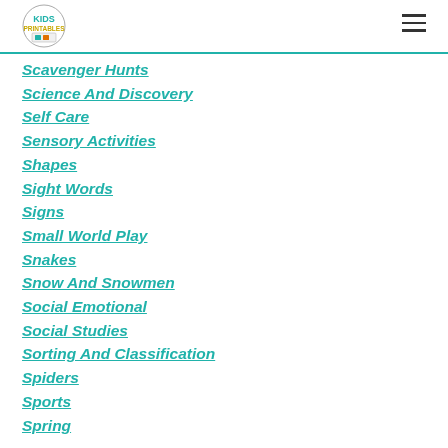Kids Printables logo and navigation menu
Scavenger Hunts
Science And Discovery
Self Care
Sensory Activities
Shapes
Sight Words
Signs
Small World Play
Snakes
Snow And Snowmen
Social Emotional
Social Studies
Sorting And Classification
Spiders
Sports
Spring